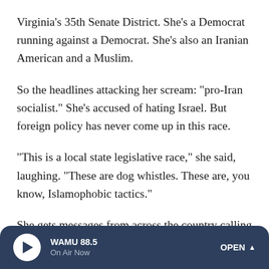Virginia's 35th Senate District. She's a Democrat running against a Democrat. She's also an Iranian American and a Muslim.
So the headlines attacking her scream: "pro-Iran socialist." She's accused of hating Israel. But foreign policy has never come up in this race.
"This is a local state legislative race," she said, laughing. "These are dog whistles. These are, you know, Islamophobic tactics."
She gets messages from across the country calling her a terrorist, trash, asking ICE to deport her.
WAMU 88.5 · On Air Now · OPEN